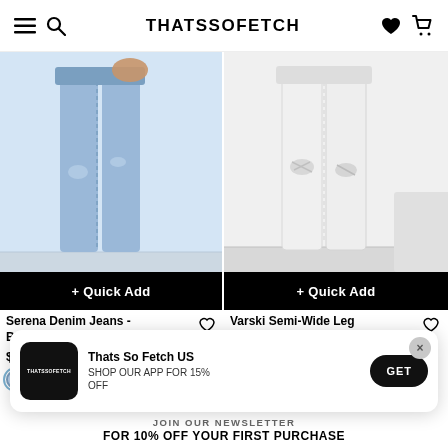THATSSOFETCH
[Figure (photo): Left product: Light blue distressed denim jeans on model, lower body shot, white sneakers, light grey studio background. Quick Add button overlay at bottom.]
[Figure (photo): Right product: White semi-wide leg ripped jeans on model, lower body shot, heeled sandals, white studio background. Quick Add button overlay at bottom.]
Serena Denim Jeans - Blue
$46.99
Varski Semi-Wide Leg Jeans - White
$49.99
Thats So Fetch US
SHOP OUR APP FOR 15% OFF
GET
JOIN OUR NEWSLETTER
FOR 10% OFF YOUR FIRST PURCHASE